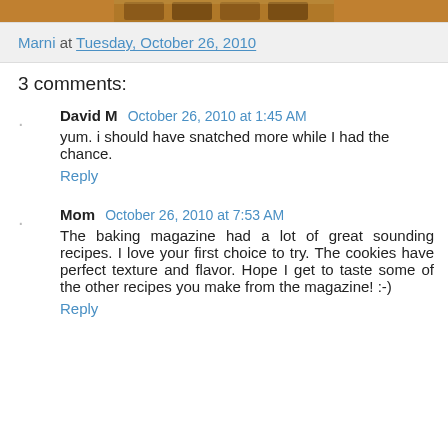[Figure (photo): Top portion of a food/baking photo, partially cropped, showing brown wooden or baked items]
Marni at Tuesday, October 26, 2010
3 comments:
David M  October 26, 2010 at 1:45 AM
yum. i should have snatched more while I had the chance.
Reply
Mom  October 26, 2010 at 7:53 AM
The baking magazine had a lot of great sounding recipes. I love your first choice to try. The cookies have perfect texture and flavor. Hope I get to taste some of the other recipes you make from the magazine! :-)
Reply